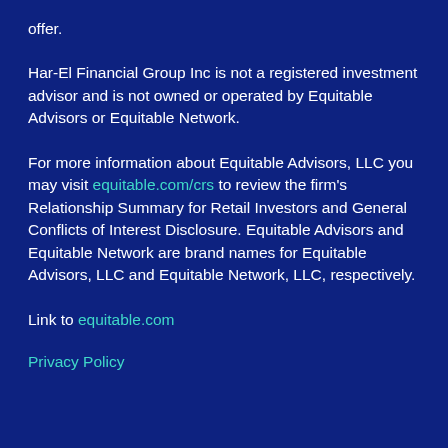offer.
Har-El Financial Group Inc is not a registered investment advisor and is not owned or operated by Equitable Advisors or Equitable Network.
For more information about Equitable Advisors, LLC you may visit equitable.com/crs to review the firm's Relationship Summary for Retail Investors and General Conflicts of Interest Disclosure. Equitable Advisors and Equitable Network are brand names for Equitable Advisors, LLC and Equitable Network, LLC, respectively.
Link to equitable.com
Privacy Policy